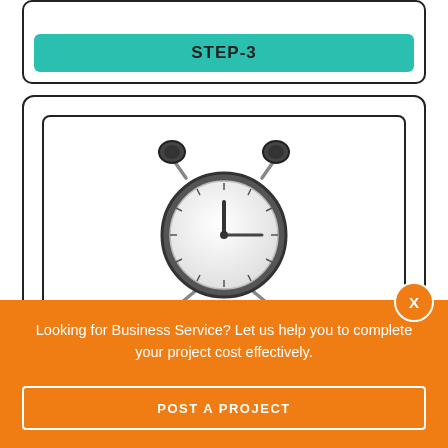STEP-3
[Figure (illustration): Alarm clock illustration showing analog clock face with hour and minute hands, two bells on top, on a white background inside a rounded rectangle border]
FINAL DELIVERY
Looking for Business Service? Let us help you to complete your project cost effectively.
POST A PROJECT